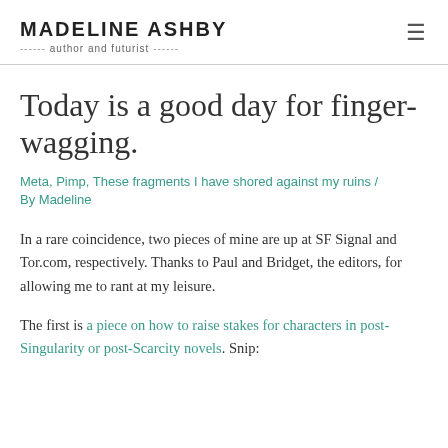MADELINE ASHBY — author and futurist
Today is a good day for finger-wagging.
Meta, Pimp, These fragments I have shored against my ruins / By Madeline
In a rare coincidence, two pieces of mine are up at SF Signal and Tor.com, respectively. Thanks to Paul and Bridget, the editors, for allowing me to rant at my leisure.
The first is a piece on how to raise stakes for characters in post-Singularity or post-Scarcity novels. Snip: